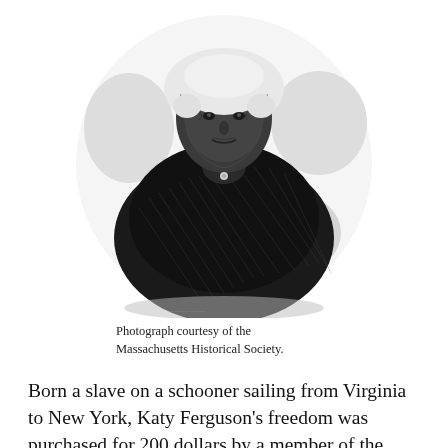[Figure (illustration): Black and white engraving portrait of Katy Ferguson, an elderly woman wearing a white bonnet and dark shawl, depicted from the waist up against a light background with cloud-like shading.]
Photograph courtesy of the Massachusetts Historical Society.
Born a slave on a schooner sailing from Virginia to New York, Katy Ferguson's freedom was purchased for 200 dollars by a member of the